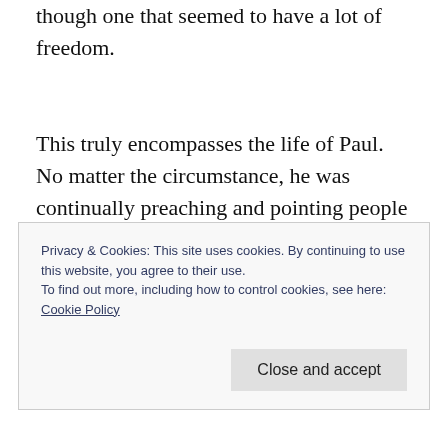though one that seemed to have a lot of freedom.
This truly encompasses the life of Paul. No matter the circumstance, he was continually preaching and pointing people towards Jesus Christ. He had one of the most dramatic conversions in recorded history, and he had a God-given burden for those who were lost. He made no excuses, even when he knew he would be in a location for a short time.
Privacy & Cookies: This site uses cookies. By continuing to use this website, you agree to their use.
To find out more, including how to control cookies, see here: Cookie Policy
Close and accept